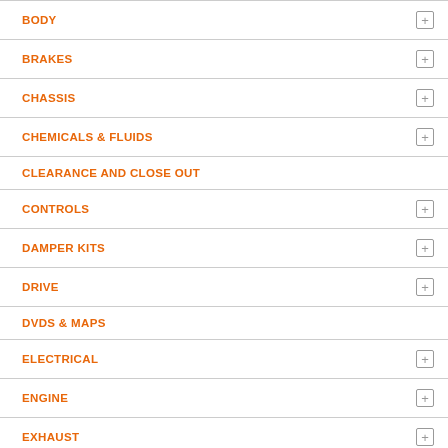BODY
BRAKES
CHASSIS
CHEMICALS & FLUIDS
CLEARANCE AND CLOSE OUT
CONTROLS
DAMPER KITS
DRIVE
DVDS & MAPS
ELECTRICAL
ENGINE
EXHAUST
FILTERS